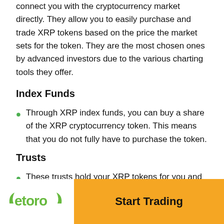connect you with the cryptocurrency market directly. They allow you to easily purchase and trade XRP tokens based on the price the market sets for the token. They are the most chosen ones by advanced investors due to the various charting tools they offer.
Index Funds
Through XRP index funds, you can buy a share of the XRP cryptocurrency token. This means that you do not fully have to purchase the token.
Trusts
These trusts hold your XRP tokens for you and where you can trade your shares through a brokerage or a
[Figure (logo): eToro logo with green bull horns and green text]